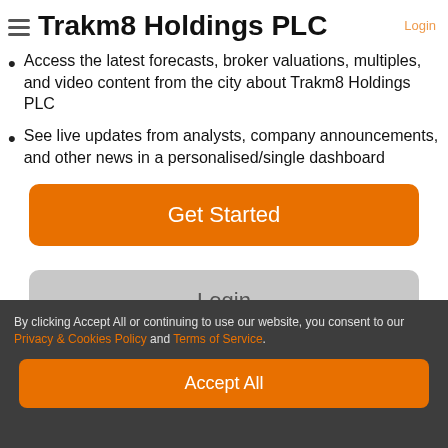Trakm8 Holdings PLC
Access the latest forecasts, broker valuations, multiples, and video content from the city about Trakm8 Holdings PLC
See live updates from analysts, company announcements, and other news in a personalised/single dashboard
Get Started
Login
By clicking Accept All or continuing to use our website, you consent to our Privacy & Cookies Policy and Terms of Service.
Accept All